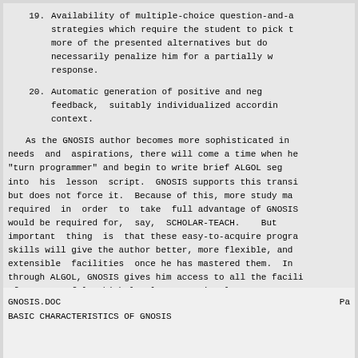19. Availability of multiple-choice question-and-answer strategies which require the student to pick the more of the presented alternatives but do not necessarily penalize him for a partially wrong response.
20. Automatic generation of positive and negative feedback, suitably individualized according to context.
As the GNOSIS author becomes more sophisticated in needs and aspirations, there will come a time when he will "turn programmer" and begin to write brief ALGOL segments into his lesson script. GNOSIS supports this transition but does not force it. Because of this, more study may be required in order to take full advantage of GNOSIS than would be required for, say, SCHOLAR-TEACH. But the important thing is that these easy-to-acquire programming skills will give the author better, more flexible, and more extensible facilities once he has mastered them. In addition, through ALGOL, GNOSIS gives him access to all the facilities of a powerful, high-level programming language. No other CAI author language provides such an opportunity.
GNOSIS.DOC
BASIC CHARACTERISTICS OF GNOSIS